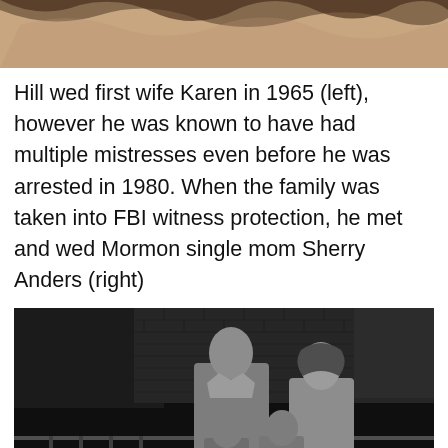[Figure (photo): Top portion of a photograph showing the top of a person's head with hair, cropped]
Hill wed first wife Karen in 1965 (left), however he was known to have had multiple mistresses even before he was arrested in 1980. When the family was taken into FBI witness protection, he met and wed Mormon single mom Sherry Anders (right)
[Figure (photo): Black and white photograph of a man and woman standing with two young children in front of a brick building with a railing]